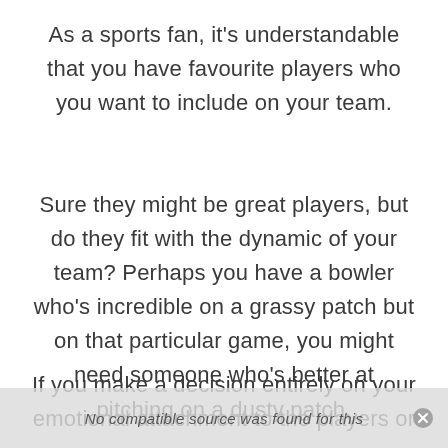As a sports fan, it's understandable that you have favourite players who you want to include on your team.
Sure they might be great players, but do they fit with the dynamic of your team? Perhaps you have a bowler who's incredible on a grassy patch but on that particular game, you might need someone who's better at pitching on a dusty patch.
If you make a decision entirely on your emotional attachment to the players or a
No compatible source was found for this